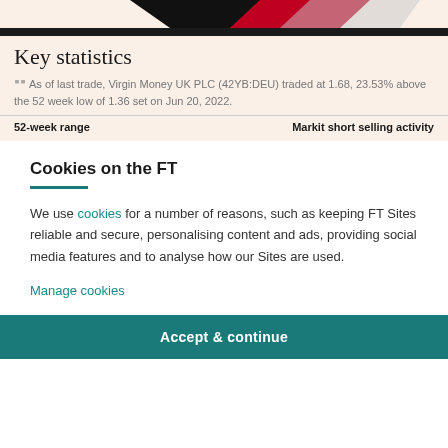[Figure (photo): Partial image of FT newspaper or similar print material with black, red and white coloring, shown at top]
Key statistics
As of last trade, Virgin Money UK PLC (42YB:DEU) traded at 1.68, 23.53% above the 52 week low of 1.36 set on Jun 20, 2022.
52-week range	Markit short selling activity
Cookies on the FT
We use cookies for a number of reasons, such as keeping FT Sites reliable and secure, personalising content and ads, providing social media features and to analyse how our Sites are used.
Manage cookies
Accept & continue